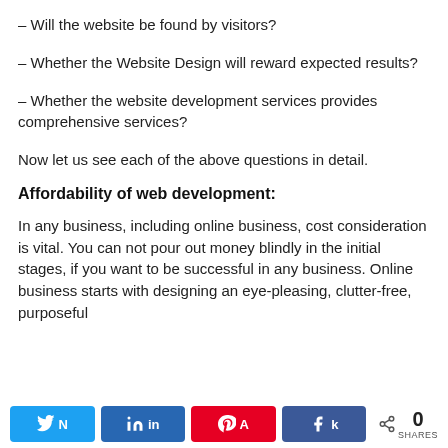– Will the website be found by visitors?
– Whether the Website Design will reward expected results?
– Whether the website development services provides comprehensive services?
Now let us see each of the above questions in detail.
Affordability of web development:
In any business, including online business, cost consideration is vital. You can not pour out money blindly in the initial stages, if you want to be successful in any business. Online business starts with designing an eye-pleasing, clutter-free, purposeful